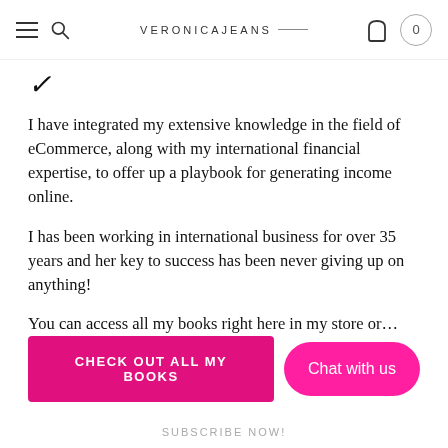VeronicaJeans
I have integrated my extensive knowledge in the field of eCommerce, along with my international financial expertise, to offer up a playbook for generating income online.
I has been working in international business for over 35 years and her key to success has been never giving up on anything!
You can access all my books right here in my store or...
CHECK OUT ALL MY BOOKS
Chat with us
SUBSCRIBE NOW!